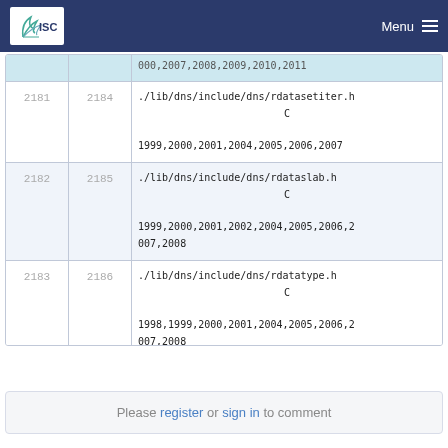ISC | Menu
| # | # | File / Language / Years |
| --- | --- | --- |
|  |  | 000,2007,2008,2009,2010,2011 |
| 2181 | 2184 | ./lib/dns/include/dns/rdatasetiter.h
C
1999,2000,2001,2004,2005,2006,2007 |
| 2182 | 2185 | ./lib/dns/include/dns/rdataslab.h
C
1999,2000,2001,2002,2004,2005,2006,2007,2008 |
| 2183 | 2186 | ./lib/dns/include/dns/rdatatype.h
C
1998,1999,2000,2001,2004,2005,2006,2007,2008 |
| ... | ... |  |
Please register or sign in to comment